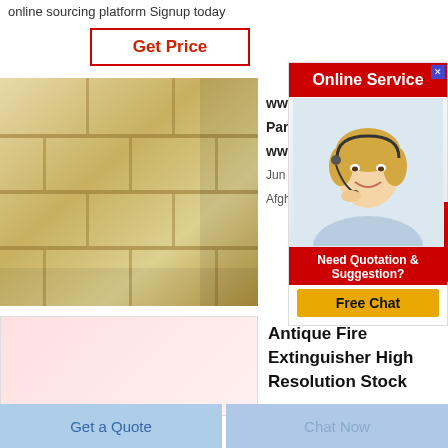online sourcing platform Signup today
Get Price
[Figure (photo): Stack of light-colored fire bricks arranged in rows]
www...
Part...
wwi...
Jun 0...
Afgh...
[Figure (advertisement): Online Service ad banner with woman wearing headset, red header, Free Chat button]
[Figure (photo): Second product card placeholder with light red background]
Antique Fire Extinguisher High Resolution Stock
Get a Quote
Chat Now